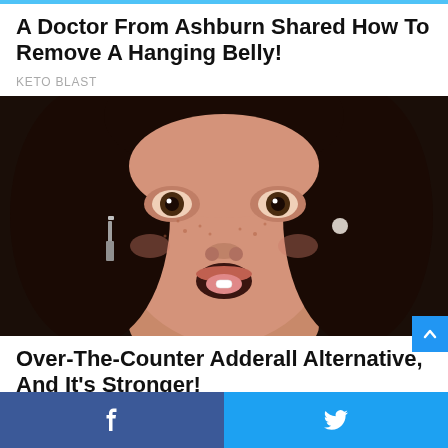A Doctor From Ashburn Shared How To Remove A Hanging Belly!
KETO BLAST
[Figure (photo): Close-up photo of a young woman with curly dark hair, freckles, and dangling metallic earrings, with her mouth open and a small white pill on her tongue.]
Over-The-Counter Adderall Alternative, And It's Stronger!
BRAIN BOOSTER
[Figure (photo): Partially visible bottom image strip showing two images side by side.]
Facebook share button | Twitter share button